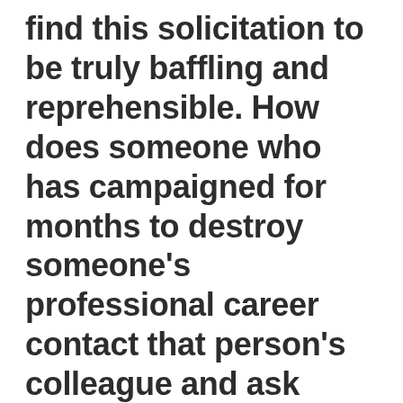find this solicitation to be truly baffling and reprehensible. How does someone who has campaigned for months to destroy someone's professional career contact that person's colleague and ask someone to give them an opportunity to share their side of the story? How does an individual who has obsessed about denying platforms to a journalist turn